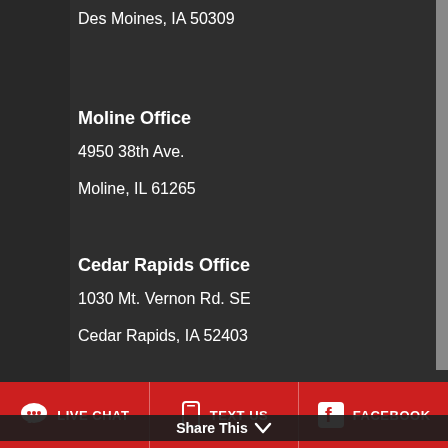Des Moines, IA 50309
Moline Office
4950 38th Ave.
Moline, IL 61265
Cedar Rapids Office
1030 Mt. Vernon Rd. SE
Cedar Rapids, IA 52403
© 2020 VanDerGinst Law, PC, Dennis VanDerGinst
All Rights Reserved | Site Map
Share This
LIVE CHAT   TEXT US   FACEBOOK